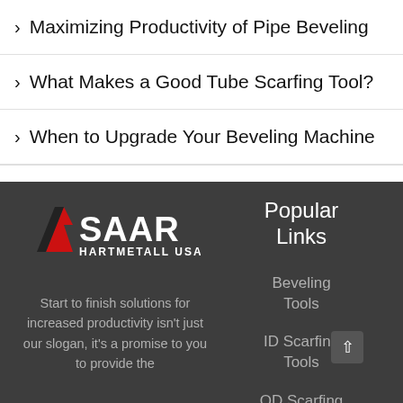Maximizing Productivity of Pipe Beveling
What Makes a Good Tube Scarfing Tool?
When to Upgrade Your Beveling Machine
[Figure (logo): SAAR Hartmetall USA logo — red A triangle icon with white SAAR text and HARTMETALL USA beneath]
Start to finish solutions for increased productivity isn't just our slogan, it's a promise to you to provide the
Popular Links
Beveling Tools
ID Scarfing Tools
OD Scarfing Tools